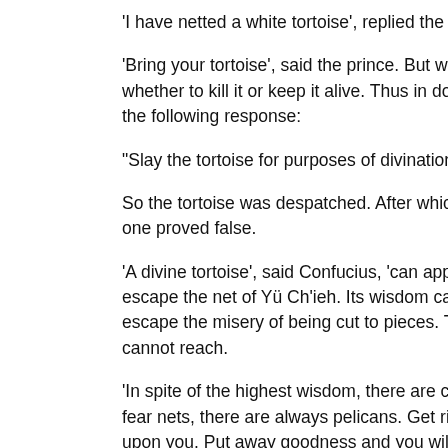'I have netted a white tortoise', replied the fisherman, 'fiv
'Bring your tortoise', said the prince. But when it came, t whether to kill it or keep it alive. Thus in doubt, he had r the following response:
"Slay the tortoise for purposes of divination and good fo
So the tortoise was despatched. After which, out of seve one proved false.
'A divine tortoise', said Confucius, 'can appear to prince escape the net of Yü Ch'ieh. Its wisdom can yield seven escape the misery of being cut to pieces. Truly wisdom b cannot reach.
'In spite of the highest wisdom, there are countless snar fear nets, there are always pelicans. Get rid of small wis upon you. Put away goodness and you will be naturally because taught by professors of the art, but because it b themselves speak.'
Hui Tzu said to Chuang Tzu, 'Your theme, Sir, is the use
'You must understand the useless', replied Chuang Tzu,